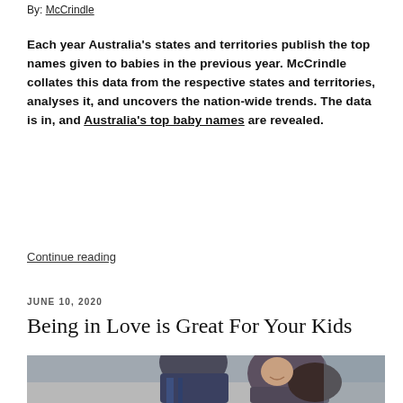By: McCrindle
Each year Australia's states and territories publish the top names given to babies in the previous year. McCrindle collates this data from the respective states and territories, analyses it, and uncovers the nation-wide trends. The data is in, and Australia's top baby names are revealed.
Continue reading
JUNE 10, 2020
Being in Love is Great For Your Kids
[Figure (photo): A couple — a bearded man kissing a smiling woman's head — photographed outdoors in a documentary style.]